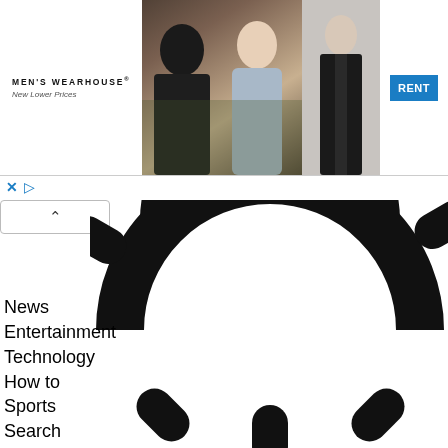[Figure (screenshot): Men's Wearhouse advertisement banner showing a couple in formal wear and a man in a suit, with a RENT button]
[Figure (illustration): Large sun/brightness icon (partially cropped circle with rays) rendered in black and white]
News
Entertainment
Technology
How to
Sports
Search